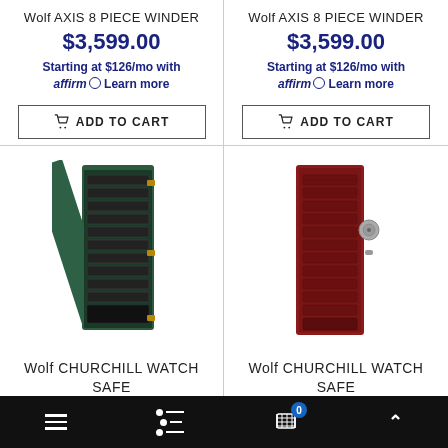Wolf AXIS 8 PIECE WINDER
$3,599.00
Starting at $126/mo with affirm. Learn more
ADD TO CART
Wolf AXIS 8 PIECE WINDER
$3,599.00
Starting at $126/mo with affirm. Learn more
ADD TO CART
[Figure (photo): Green Wolf Churchill Watch Safe with open door showing multiple watch winder compartments]
[Figure (photo): Red/burgundy Wolf Churchill Watch Safe showing front with drawers and combination lock]
Wolf CHURCHILL WATCH SAFE
Wolf CHURCHILL WATCH SAFE
Navigation bar with hamburger menu, filter icon, cart (0), and up arrow